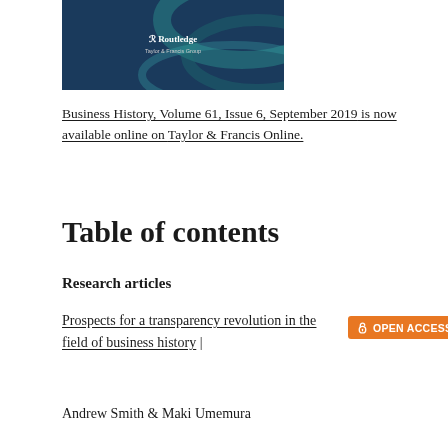[Figure (illustration): Routledge book/journal cover with dark blue background and abstract teal wave pattern, white Routledge logo in center]
Business History, Volume 61, Issue 6, September 2019 is now available online on Taylor & Francis Online.
Table of contents
Research articles
Prospects for a transparency revolution in the field of business history |
[Figure (logo): Orange OPEN ACCESS badge with open padlock icon]
Andrew Smith & Maki Umemura